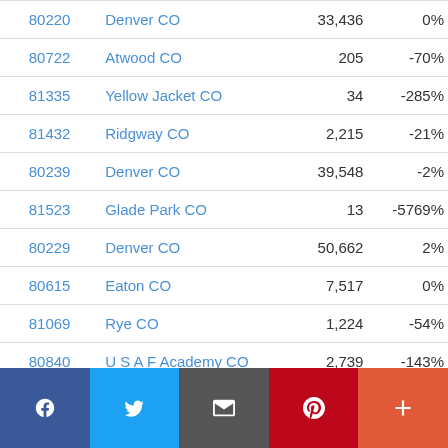| ZIP | Location | Population | Change |
| --- | --- | --- | --- |
| 80220 | Denver CO | 33,436 | 0% |
| 80722 | Atwood CO | 205 | -70% |
| 81335 | Yellow Jacket CO | 34 | -285% |
| 81432 | Ridgway CO | 2,215 | -21% |
| 80239 | Denver CO | 39,548 | -2% |
| 81523 | Glade Park CO | 13 | -5769% |
| 80229 | Denver CO | 50,662 | 2% |
| 80615 | Eaton CO | 7,517 | 0% |
| 81069 | Rye CO | 1,224 | -54% |
| 80840 | U S A F Academy CO | 2,739 | -143% |